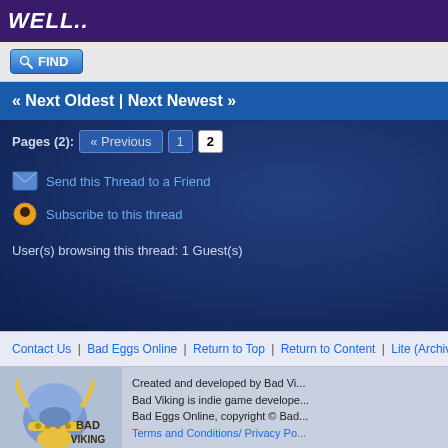[Figure (screenshot): Banner with purple background showing 'WELL..' text in bold italic white, with game character icons]
[Figure (screenshot): Blue FIND button with magnifying glass icon]
« Next Oldest | Next Newest »
Pages (2): « Previous  1  2
Send this Thread to a Friend
Subscribe to this thread
User(s) browsing this thread: 1 Guest(s)
Contact Us | Bad Eggs Online | Return to Top | Return to Content | Lite (Archive) Mode
[Figure (logo): Bad Viking logo - viking helmet with horns, blue coloring, with 'BAD VIKING' text]
Created and developed by Bad Vi... Bad Viking is indie game develope... Bad Eggs Online, copyright © Bad... Terms and Conditions/ Privacy Po...